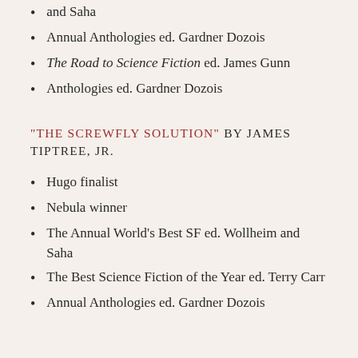and Saha
Annual Anthologies ed. Gardner Dozois
The Road to Science Fiction ed. James Gunn
Anthologies ed. Gardner Dozois
"THE SCREWFLY SOLUTION" BY JAMES TIPTREE, JR.
Hugo finalist
Nebula winner
The Annual World's Best SF ed. Wollheim and Saha
The Best Science Fiction of the Year ed. Terry Carr
Annual Anthologies ed. Gardner Dozois